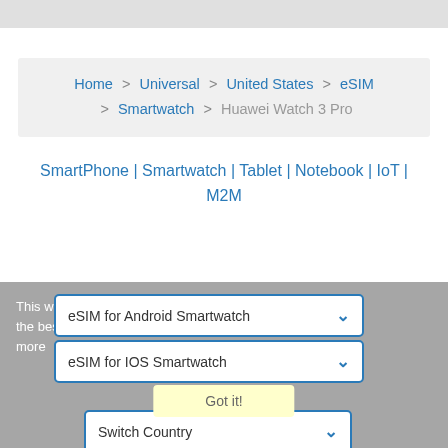[Figure (screenshot): Gray banner bar at the top of the page]
Home > Universal > United States > eSIM > Smartwatch > Huawei Watch 3 Pro
SmartPhone | Smartwatch | Tablet | Notebook | IoT | M2M
This website uses cookies to ensure you get the best experience on our website.  Learn more
eSIM for Android Smartwatch
eSIM for IOS Smartwatch
Got it!
Switch Country